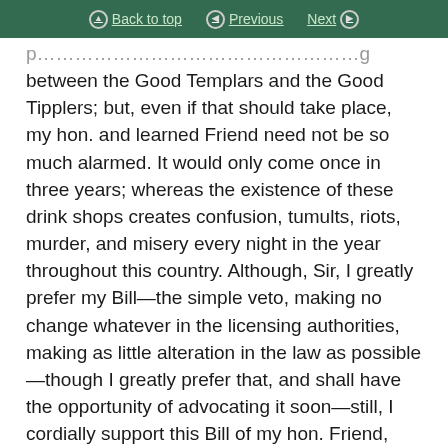Back to top | Previous | Next
between the Good Templars and the Good Tipplers; but, even if that should take place, my hon. and learned Friend need not be so much alarmed. It would only come once in three years; whereas the existence of these drink shops creates confusion, tumults, riots, murder, and misery every night in the year throughout this country. Although, Sir, I greatly prefer my Bill—the simple veto, making no change whatever in the licensing authorities, making as little alteration in the law as possible—though I greatly prefer that, and shall have the opportunity of advocating it soon—still, I cordially support this Bill of my hon. Friend, which is more ambitious, more comprehensive, more extensive than mine, but which, I hope, if carried out, will prove equally